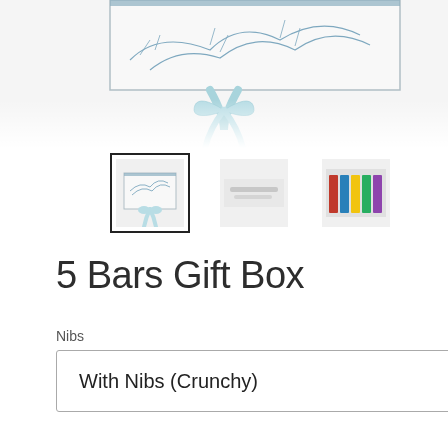[Figure (photo): Top portion of a white gift box with blue botanical branch design and a light blue ribbon bow, partially cropped at top]
[Figure (photo): Three product thumbnail images: first (selected, with dark border) shows the white gift box top-down, second shows a blurred close-up of the box label, third shows chocolate bars arranged in a colorful row inside box]
5 Bars Gift Box
Nibs
With Nibs (Crunchy)